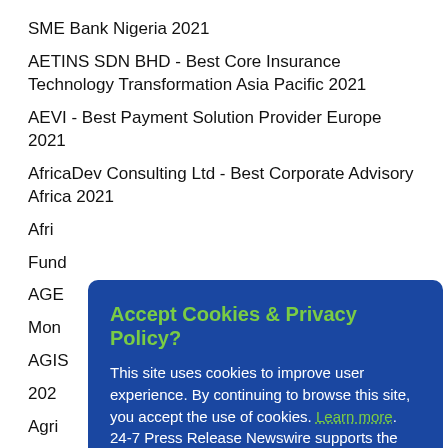SME Bank Nigeria 2021
AETINS SDN BHD - Best Core Insurance Technology Transformation Asia Pacific 2021
AEVI - Best Payment Solution Provider Europe 2021
AfricaDev Consulting Ltd - Best Corporate Advisory Africa 2021
Afri[cut off]
Fund[cut off]
AGE[cut off]
Mon[cut off]
AGIS[cut off]
202[cut off]
Agri[cut off]
Chin[cut off]
Ahli Bank - Fastest Growing Corporate Bank Oman 2021
[Figure (screenshot): Cookie consent overlay with blue background, heading 'Accept Cookies & Privacy Policy?' in green, body text about cookies, links to Learn more and GDPR, and an orange Accept Cookies button.]